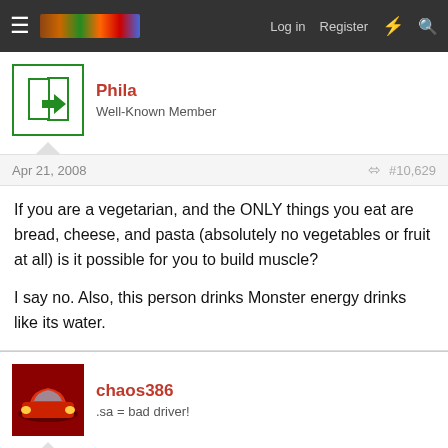Forum navigation bar with hamburger menu, logo, Log in, Register, lightning bolt, and search icons
Phila
Well-Known Member
Apr 21, 2008   #10,629
If you are a vegetarian, and the ONLY things you eat are bread, cheese, and pasta (absolutely no vegetables or fruit at all) is it possible for you to build muscle?

I say no. Also, this person drinks Monster energy drinks like its water.
chaos386
.sa = bad driver!
Apr 21, 2008   #10,630
Prost264 said: